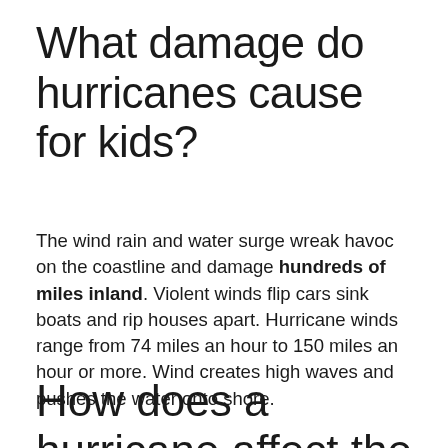What damage do hurricanes cause for kids?
The wind rain and water surge wreak havoc on the coastline and damage hundreds of miles inland. Violent winds flip cars sink boats and rip houses apart. Hurricane winds range from 74 miles an hour to 150 miles an hour or more. Wind creates high waves and pushes the water onto shore.
How does a hurricane affect the